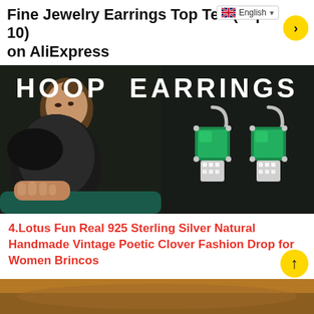Fine Jewelry Earrings Top Ten (Top 10) on AliExpress
[Figure (photo): Advertisement photo with dark background showing text HOOP EARRINGS. Left side shows a woman in a black fur coat posing glamorously. Right side displays a pair of elegant silver hoop earrings with green gemstones (emerald-style) and diamond-encrusted lower portion.]
4.Lotus Fun Real 925 Sterling Silver Natural Handmade Vintage Poetic Clover Fashion Drop for Women Brincos
[Figure (photo): Partial bottom image showing jewelry product, warm brown tones.]